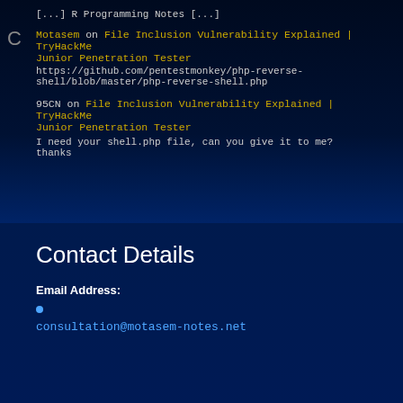[...] R Programming Notes [...]
Motasem on File Inclusion Vulnerability Explained | TryHackMe Junior Penetration Tester
https://github.com/pentestmonkey/php-reverse-shell/blob/master/php-reverse-shell.php
95CN on File Inclusion Vulnerability Explained | TryHackMe Junior Penetration Tester
I need your shell.php file, can you give it to me? thanks
Contact Details
Email Address:
consultation@motasem-notes.net